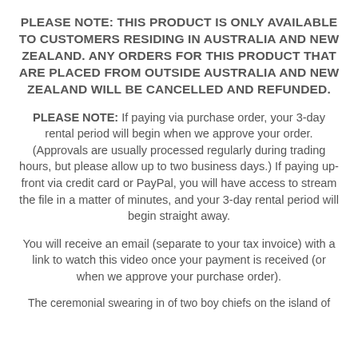PLEASE NOTE: THIS PRODUCT IS ONLY AVAILABLE TO CUSTOMERS RESIDING IN AUSTRALIA AND NEW ZEALAND. ANY ORDERS FOR THIS PRODUCT THAT ARE PLACED FROM OUTSIDE AUSTRALIA AND NEW ZEALAND WILL BE CANCELLED AND REFUNDED.
PLEASE NOTE: If paying via purchase order, your 3-day rental period will begin when we approve your order. (Approvals are usually processed regularly during trading hours, but please allow up to two business days.) If paying up-front via credit card or PayPal, you will have access to stream the file in a matter of minutes, and your 3-day rental period will begin straight away.
You will receive an email (separate to your tax invoice) with a link to watch this video once your payment is received (or when we approve your purchase order).
The ceremonial swearing in of two boy chiefs on the island of